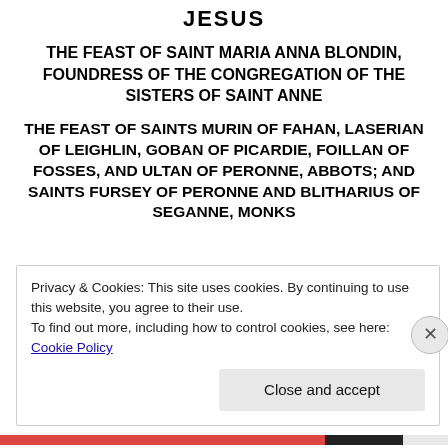JESUS
THE FEAST OF SAINT MARIA ANNA BLONDIN, FOUNDRESS OF THE CONGREGATION OF THE SISTERS OF SAINT ANNE
THE FEAST OF SAINTS MURIN OF FAHAN, LASERIAN OF LEIGHLIN, GOBAN OF PICARDIE, FOILLAN OF FOSSES, AND ULTAN OF PERONNE, ABBOTS; AND SAINTS FURSEY OF PERONNE AND BLITHARIUS OF SEGANNE, MONKS
Privacy & Cookies: This site uses cookies. By continuing to use this website, you agree to their use.
To find out more, including how to control cookies, see here: Cookie Policy